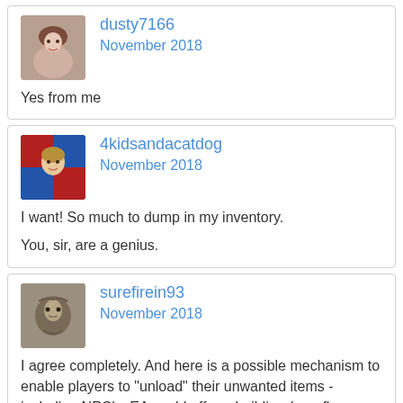dusty7166
November 2018

Yes from me
4kidsandacatdog
November 2018

I want! So much to dump in my inventory.

You, sir, are a genius.
surefirein93
November 2018

I agree completely. And here is a possible mechanism to enable players to "unload" their unwanted items - including NPC's. EA could offer a building (or a flea market) where the value of an item would vary (determined randomly when a